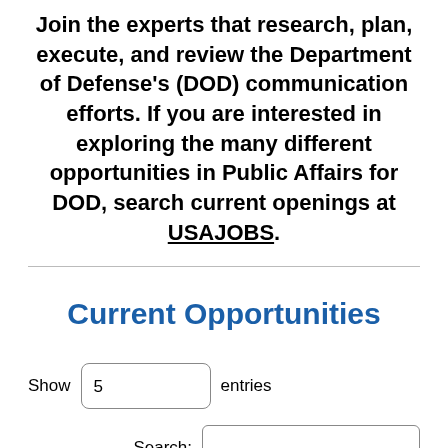Join the experts that research, plan, execute, and review the Department of Defense's (DOD) communication efforts. If you are interested in exploring the many different opportunities in Public Affairs for DOD, search current openings at USAJOBS.
Current Opportunities
Show 5 entries
Search: